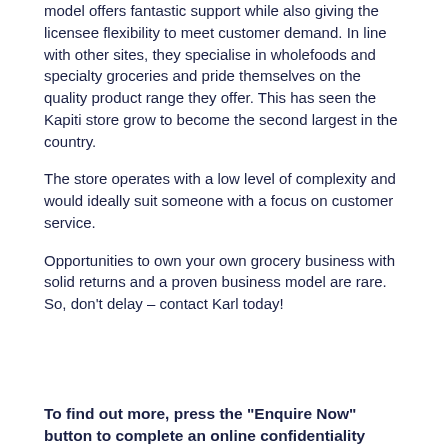model offers fantastic support while also giving the licensee flexibility to meet customer demand. In line with other sites, they specialise in wholefoods and specialty groceries and pride themselves on the quality product range they offer. This has seen the Kapiti store grow to become the second largest in the country.
The store operates with a low level of complexity and would ideally suit someone with a focus on customer service.
Opportunities to own your own grocery business with solid returns and a proven business model are rare. So, don't delay – contact Karl today!
To find out more, press the "Enquire Now" button to complete an online confidentiality agreement.
***Some details of the business for sale are confidential and can only be disclosed upon contacting the broker and a completion of a Confidentiality Agreement. Due to the confidentiality of this business a stock photo image may be used to represent the business.